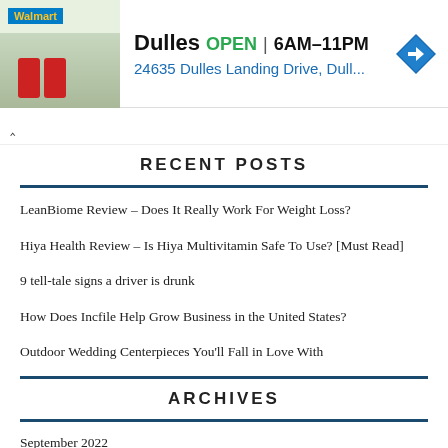[Figure (screenshot): Walmart store advertisement banner showing store exterior photo, 'Dulles OPEN | 6AM–11PM' and '24635 Dulles Landing Drive, Dull...' with a blue navigation arrow icon.]
RECENT POSTS
LeanBiome Review – Does It Really Work For Weight Loss?
Hiya Health Review – Is Hiya Multivitamin Safe To Use? [Must Read]
9 tell-tale signs a driver is drunk
How Does Incfile Help Grow Business in the United States?
Outdoor Wedding Centerpieces You'll Fall in Love With
ARCHIVES
September 2022
August 2022